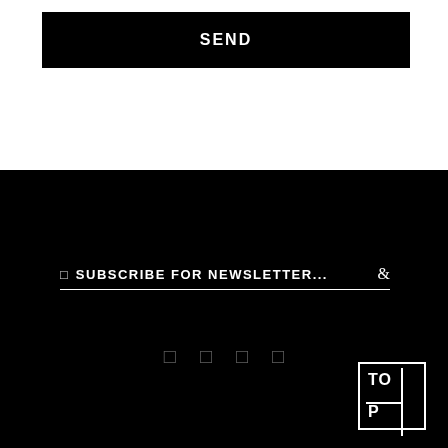SEND
☐  SUBSCRIBE FOR NEWSLETTER...  &
[Figure (infographic): Four small social media icon placeholders in a row, gray colored on black background]
[Figure (logo): TOP logo — letters TO and P in a box divided by horizontal and vertical lines]